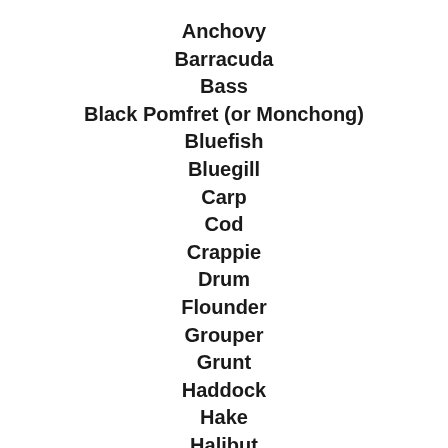Anchovy
Barracuda
Bass
Black Pomfret (or Monchong)
Bluefish
Bluegill
Carp
Cod
Crappie
Drum
Flounder
Grouper
Grunt
Haddock
Hake
Halibut
Hardhead
Herring or Alewife